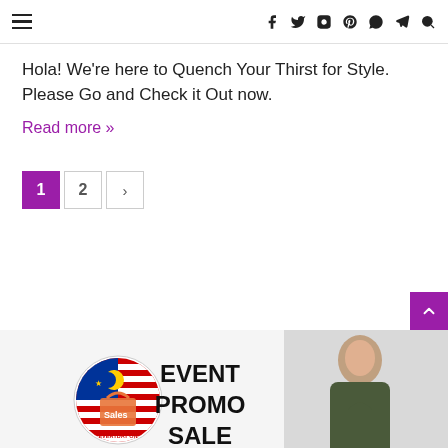≡   f  twitter  instagram  pinterest  whatsapp  telegram  search
Hola! We're here to Quench Your Thirst for Style. Please Go and Check it Out now.
Read more »
1  2  >
[Figure (infographic): EVENT PROMO SALE banner with Everyday on Sales Malaysia logo (badge with Malaysian flag and shopping bag) on left, bold text 'EVENT PROMO SALE' in center, and a smiling woman on the right.]